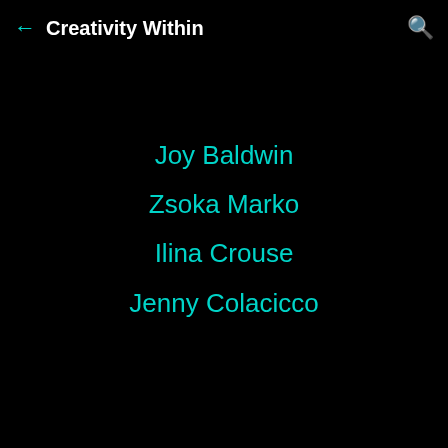← Creativity Within 🔍
Joy Baldwin
Zsoka Marko
Ilina Crouse
Jenny Colacicco